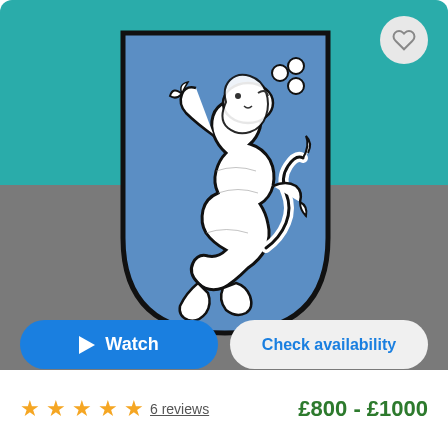[Figure (illustration): Heraldic coat of arms with a white lion rampant on a blue shield background, displayed on a teal and gray bicolor background. A heart/favorite button appears in the top right corner.]
Watch
Check availability
★★★★★ 6 reviews
£800 - £1000